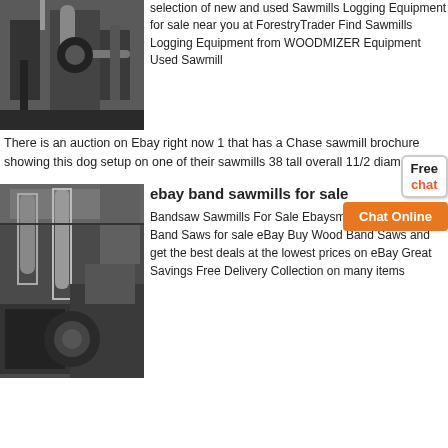[Figure (photo): Industrial sawmill machinery inside a warehouse, showing large equipment and ductwork]
selection of new and used Sawmills Logging Equipment for sale near you at ForestryTrader Find Sawmills Logging Equipment from WOODMIZER Equipment Used Sawmill
There is an auction on Ebay right now 1 that has a Chase sawmill brochure showing this dog setup on one of their sawmills 38 tall overall 11/2 diameter
[Figure (photo): Industrial sawmill or woodworking machinery with large pipes and dust collection equipment inside a factory]
ebay band sawmills for sale
Bandsaw Sawmills For Sale Ebaysmokys pizza Wood Band Saws for sale eBay Buy Wood Band Saws and get the best deals at the lowest prices on eBay Great Savings Free Delivery Collection on many items